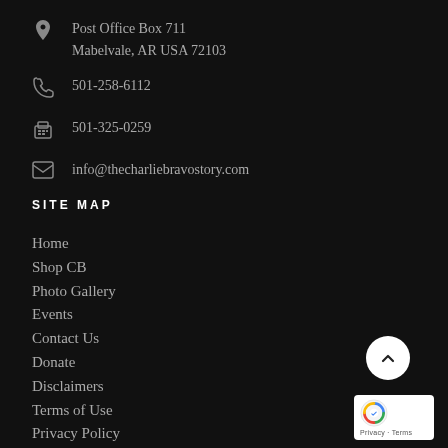Post Office Box 711
Mabelvale, AR USA 72103
501-258-6112
501-325-0259
info@thecharliebravostory.com
SITE MAP
Home
Shop CB
Photo Gallery
Events
Contact Us
Donate
Disclaimers
Terms of Use
Privacy Policy